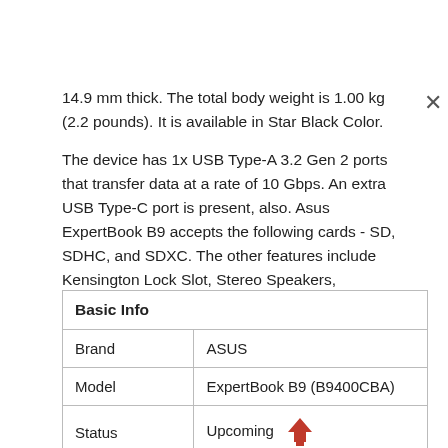14.9 mm thick. The total body weight is 1.00 kg (2.2 pounds). It is available in Star Black Color.
The device has 1x USB Type-A 3.2 Gen 2 ports that transfer data at a rate of 10 Gbps. An extra USB Type-C port is present, also. Asus ExpertBook B9 accepts the following cards - SD, SDHC, and SDXC. The other features include Kensington Lock Slot, Stereo Speakers, Microphone, 2.0b HDMI, 802.11ax WiFi, Bluetooth 5.2, and a 3.5 mm audio jack.
| Basic Info |  |
| --- | --- |
| Brand | ASUS |
| Model | ExpertBook B9 (B9400CBA) |
| Status | Upcoming |
| Release Date | Exp Q3 2022 |